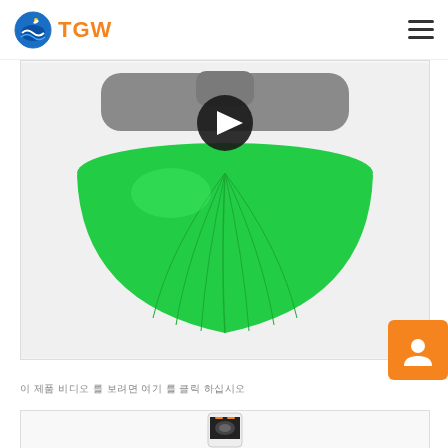TGW
[Figure (photo): A green dome-shaped LED light fixture with a gray top rim and a dark play button overlay in the center top area, suggesting a product video thumbnail.]
이 제품 비디오 를 보려면 여기 를 클릭 하십시오
[Figure (photo): A smartphone showing a product app interface at the bottom of the page.]